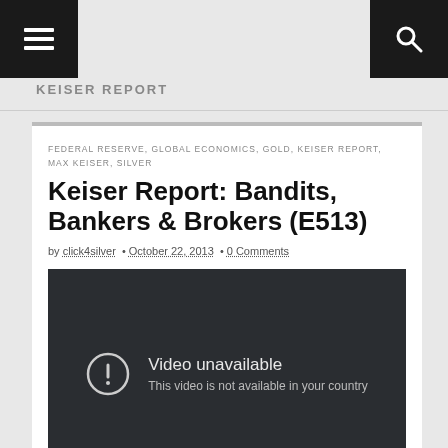KEISER REPORT
FEDERAL RESERVE, GLOBAL ECONOMICS, GOLD, KEISER REPORT, MAX KEISER, SILVER
Keiser Report: Bandits, Bankers & Brokers (E513)
by click4silver • October 22, 2013 • 0 Comments
[Figure (screenshot): Embedded video player showing 'Video unavailable - This video is not available in your country' error message on dark background]